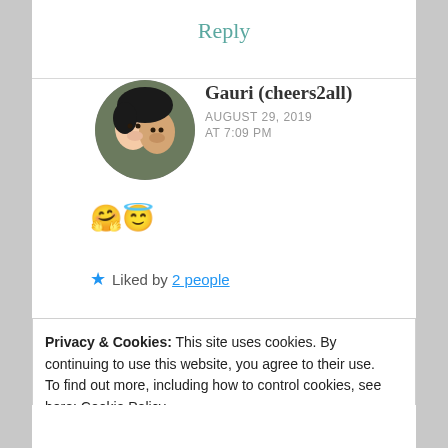Reply
[Figure (photo): Round avatar photo of a couple smiling]
Gauri (cheers2all)
AUGUST 29, 2019 AT 7:09 PM
🤗😇
★ Liked by 2 people
Privacy & Cookies: This site uses cookies. By continuing to use this website, you agree to their use.
To find out more, including how to control cookies, see here: Cookie Policy
Close and accept